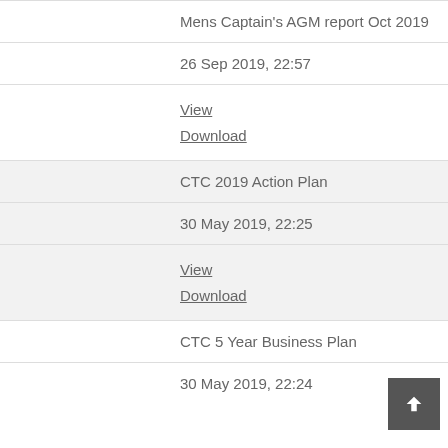| Mens Captain's AGM report Oct 2019 |
| 26 Sep 2019, 22:57 |
| View
Download |
| CTC 2019 Action Plan |
| 30 May 2019, 22:25 |
| View
Download |
| CTC 5 Year Business Plan |
| 30 May 2019, 22:24 |